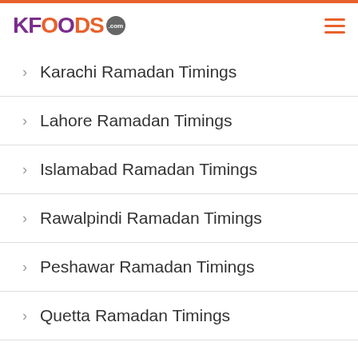KFOODS.com
Karachi Ramadan Timings
Lahore Ramadan Timings
Islamabad Ramadan Timings
Rawalpindi Ramadan Timings
Peshawar Ramadan Timings
Quetta Ramadan Timings
Faisalabad Ramadan Timings (partial)